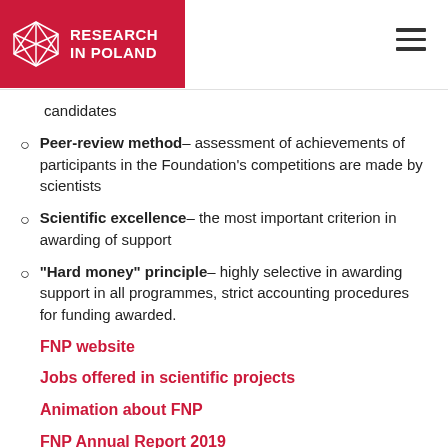RESEARCH IN POLAND
candidates
Peer-review method – assessment of achievements of participants in the Foundation's competitions are made by scientists
Scientific excellence – the most important criterion in awarding of support
"Hard money" principle – highly selective in awarding support in all programmes, strict accounting procedures for funding awarded.
FNP website
Jobs offered in scientific projects
Animation about FNP
FNP Annual Report 2019